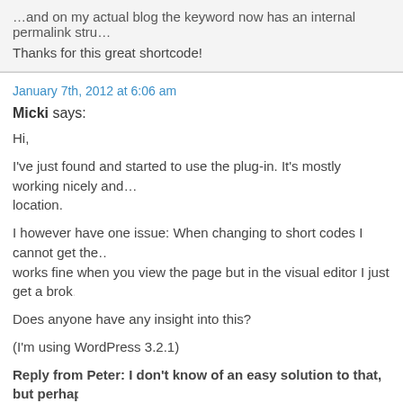…and on my actual blog the keyword now has an internal permalink stru…
Thanks for this great shortcode!
January 7th, 2012 at 6:06 am
Micki says:
Hi,
I've just found and started to use the plug-in. It's mostly working nicely and… location.
I however have one issue: When changing to short codes I cannot get the… works fine when you view the page but in the visual editor I just get a brok…
Does anyone have any insight into this?
(I'm using WordPress 3.2.1)
Reply from Peter: I don't know of an easy solution to that, but perha…
October 7th, 2013 at 11:51 am
Stratos Nikolaidis says: